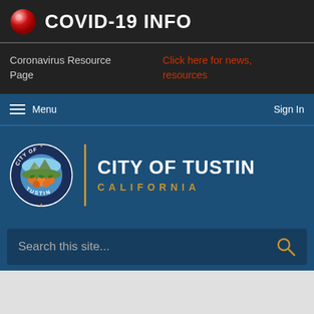COVID-19 INFO
Coronavirus Resource Page
Click here for news, resources
Menu   Sign In
[Figure (logo): City of Tustin California official seal and logo with city seal on left and text 'CITY OF TUSTIN CALIFORNIA' on right]
Search this site...